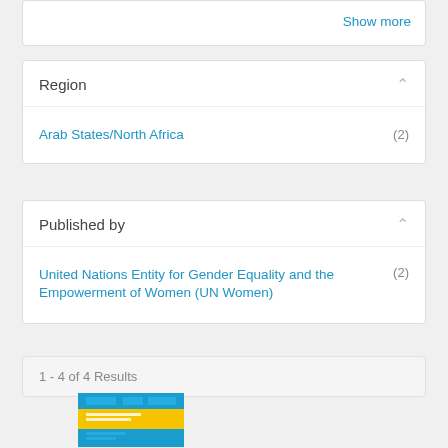Show more
Region
Arab States/North Africa (2)
Published by
United Nations Entity for Gender Equality and the Empowerment of Women (UN Women) (2)
1 - 4 of 4 Results
[Figure (photo): Book cover thumbnail: blue and yellow cover, appears to be a UN Women publication]